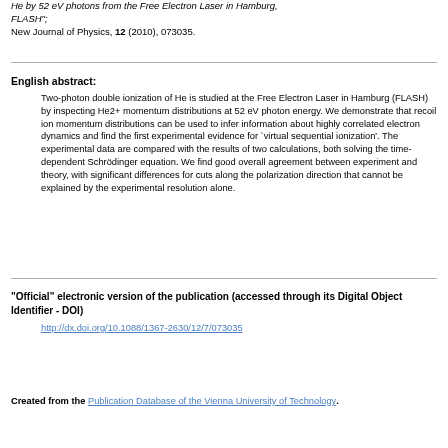He by 52 eV photons from the Free Electron Laser in Hamburg, FLASH"; New Journal of Physics, 12 (2010), 073035.
English abstract:
Two-photon double ionization of He is studied at the Free Electron Laser in Hamburg (FLASH) by inspecting He2+ momentum distributions at 52 eV photon energy. We demonstrate that recoil ion momentum distributions can be used to infer information about highly correlated electron dynamics and find the first experimental evidence for `virtual sequential ionization'. The experimental data are compared with the results of two calculations, both solving the time-dependent Schrödinger equation. We find good overall agreement between experiment and theory, with significant differences for cuts along the polarization direction that cannot be explained by the experimental resolution alone.
"Official" electronic version of the publication (accessed through its Digital Object Identifier - DOI)
http://dx.doi.org/10.1088/1367-2630/12/7/073035
Created from the Publication Database of the Vienna University of Technology.